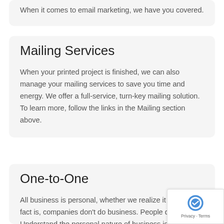When it comes to email marketing, we have you covered.
Mailing Services
When your printed project is finished, we can also manage your mailing services to save you time and energy. We offer a full-service, turn-key mailing solution. To learn more, follow the links in the Mailing section above.
One-to-One
All business is personal, whether we realize it or not. The fact is, companies don't do business. People do. Understand the personal nature of business is what one-to-one mark is all about.